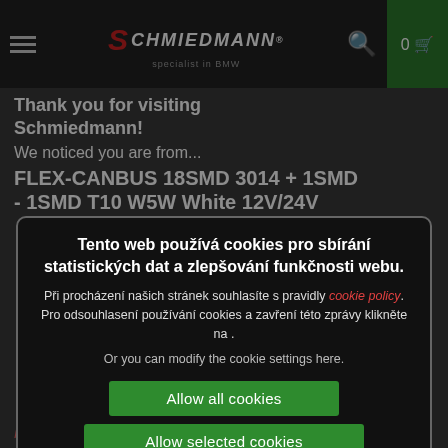Schmiedmann — specialist in BMW
Thank you for visiting Schmiedmann!
We noticed you are from...
FLEX-CANBUS 18SMD 3014 + 1SMD - 1SMD T10 W5W White 12V/24V
Tento web používá cookies pro sbírání statistických dat a zlepšování funkčnosti webu.
Při procházení našich stránek souhlasíte s pravidly cookie policy. Pro odsouhlasení používání cookies a zavření této zprávy klikněte na .
Or you can modify the cookie settings here.
Allow all cookies
Allow selected cookies
Required  Performance  Marketing  Functional  Show details ▾